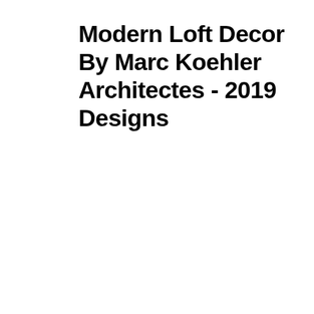Modern Loft Decor By Marc Koehler Architectes - 2019 Designs